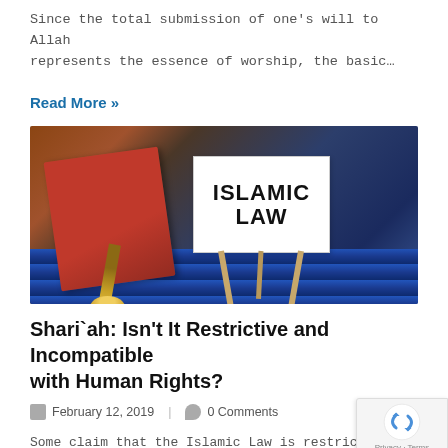Since the total submission of one's will to Allah represents the essence of worship, the basic…
Read More »
[Figure (photo): Photo of an easel holding a sign reading 'ISLAMIC LAW' in bold black text, placed on blue-patterned fabric next to a red book with a gold tassel.]
Shari`ah: Isn't It Restrictive and Incompatible with Human Rights?
February 12, 2019   |   0 Comments
Some claim that the Islamic Law is restrictive of essential liberties and incompatible to the a…
Read More